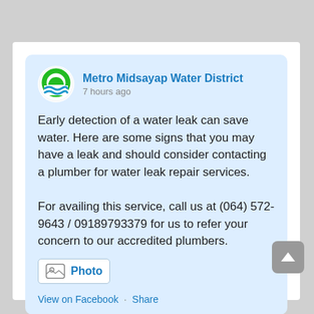Metro Midsayap Water District
7 hours ago
Early detection of a water leak can save water. Here are some signs that you may have a leak and should consider contacting a plumber for water leak repair services.
For availing this service, call us at (064) 572-9643 / 09189793379 for us to refer your concern to our accredited plumbers.
Photo
View on Facebook · Share